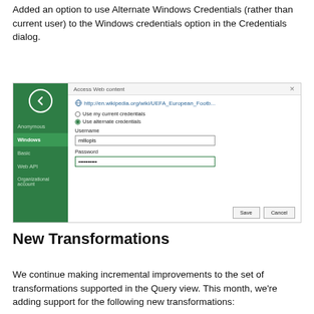Added an option to use Alternate Windows Credentials (rather than current user) to the Windows credentials option in the Credentials dialog.
[Figure (screenshot): Screenshot of 'Access Web content' dialog with a green sidebar showing Anonymous, Windows (selected/active), Basic, Web API, Organizational account options, and main pane with URL, radio buttons for 'Use my current credentials' and 'Use alternate credentials' (selected), Username field with 'millopis', Password field with dots, Save and Cancel buttons.]
New Transformations
We continue making incremental improvements to the set of transformations supported in the Query view. This month, we're adding support for the following new transformations: